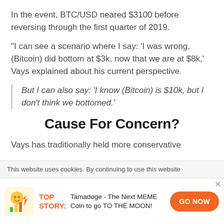In the event, BTC/USD neared $3100 before reversing through the first quarter of 2019.
"I can see a scenario where I say: 'I was wrong, (Bitcoin) did bottom at $3k, now that we are at $8k,' Vays explained about his current perspective.
But I can also say: 'I know (Bitcoin) is $10k, but I don't think we bottomed.'
Cause For Concern?
Vays has traditionally held more conservative
This website uses cookies. By continuing to use this website
TOP STORY: Tamadoge - The Next MEME Coin to go TO THE MOON!
GO NOW